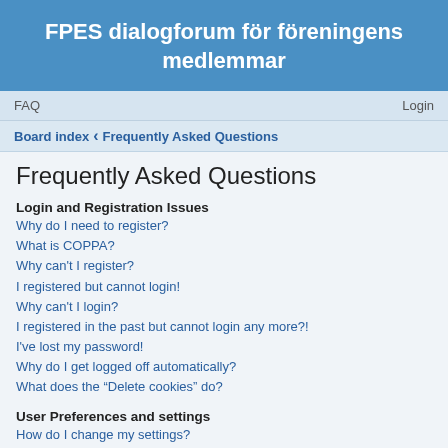FPES dialogforum för föreningens medlemmar
FAQ    Login
Board index ‹ Frequently Asked Questions
Frequently Asked Questions
Login and Registration Issues
Why do I need to register?
What is COPPA?
Why can't I register?
I registered but cannot login!
Why can't I login?
I registered in the past but cannot login any more?!
I've lost my password!
Why do I get logged off automatically?
What does the "Delete cookies" do?
User Preferences and settings
How do I change my settings?
How do I prevent my username appearing in the online user listings?
The times are not correct!
I changed the timezone and the time is still wrong!
My language is not in the list!